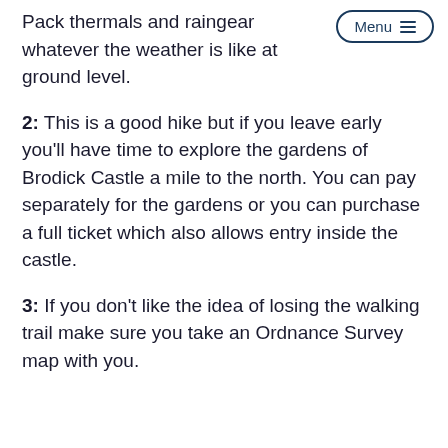Pack thermals and raingear whatever the weather is like at ground level.
2: This is a good hike but if you leave early you'll have time to explore the gardens of Brodick Castle a mile to the north. You can pay separately for the gardens or you can purchase a full ticket which also allows entry inside the castle.
3: If you don't like the idea of losing the walking trail make sure you take an Ordnance Survey map with you.